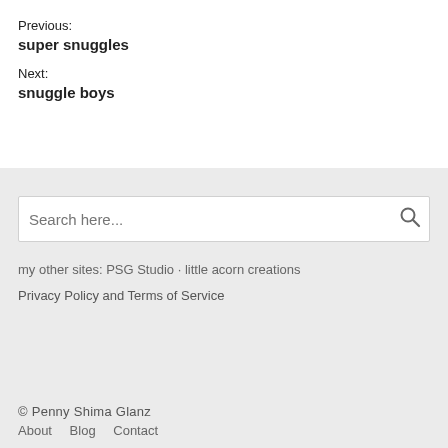Previous:
super snuggles
Next:
snuggle boys
my other sites: PSG Studio · little acorn creations
Privacy Policy and Terms of Service
© Penny Shima Glanz
About   Blog   Contact